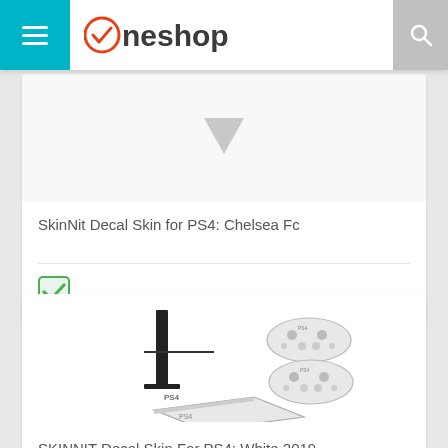Oneshop
[Figure (screenshot): Partial product image with downward arrow visible at top]
SkinNit Decal Skin for PS4: Chelsea Fc
[Figure (illustration): Green checkbox / checkmark icon]
[Figure (photo): PS4 console shown in white color with two white DualShock controllers, product listing image]
SKINNIT Decal Skin For PS4: White 2019